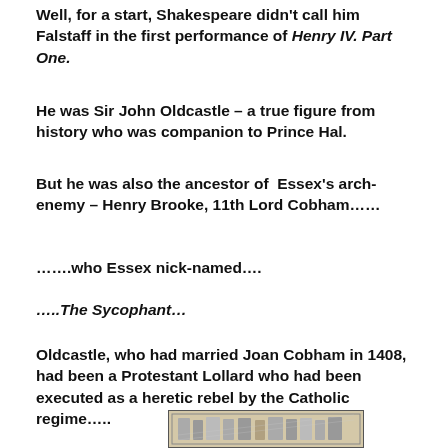Well, for a start, Shakespeare didn't call him Falstaff in the first performance of Henry IV. Part One.
He was Sir John Oldcastle – a true figure from history who was companion to Prince Hal.
But he was also the ancestor of Essex's arch-enemy – Henry Brooke, 11th Lord Cobham……
…….who Essex nick-named….
…..The Sycophant…
Oldcastle, who had married Joan Cobham in 1408, had been a Protestant Lollard who had been executed as a heretic rebel by the Catholic regime…..
[Figure (illustration): A black and white woodcut illustration showing a historical scene with multiple figures, appearing to depict an execution or confrontation scene from medieval/early modern period.]